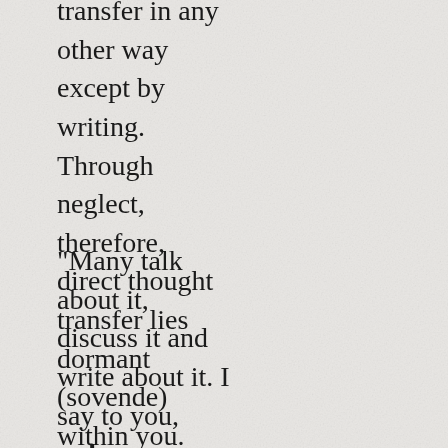transfer in any other way except by writing. Through neglect, therefore, direct thought transfer lies dormant (sovende) within you.
"Many talk about it, discuss it and write about it. I say to you, unless you make an effort to awaken this